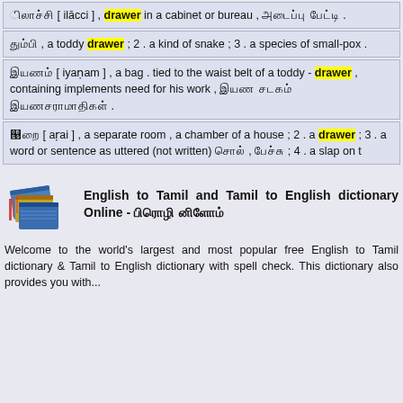இலாச்சி [ ilācci ] , drawer in a cabinet or bureau , அடைப்பு பெட்டி .
தும்பி , a toddy drawer ; 2 . a kind of snake ; 3 . a species of small-pox .
இயணம் [ iyanam ] , a bag . tied to the waist belt of a toddy - drawer , containing implements need for his work , இயண சடகம் இயணசராமாதிகள் .
அறை [ arai ] , a separate room , a chamber of a house ; 2 . a drawer ; 3 . a word or sentence as uttered (not written) சொல் , பேச்சு ; 4 . a slap on t
[Figure (illustration): Stack of books icon for English to Tamil dictionary website]
English to Tamil and Tamil to English dictionary Online - ஆங்கில அகராதி
Welcome to the world's largest and most popular free English to Tamil dictionary & Tamil to English dictionary with spell check. This dictionary also provides you with...